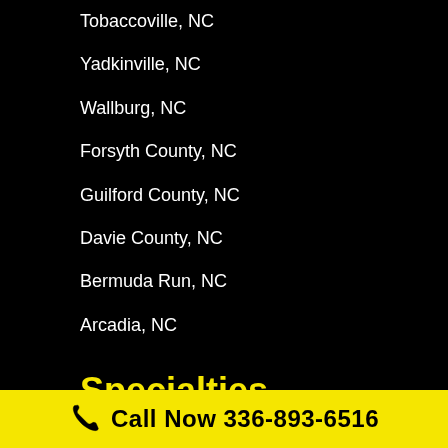Tobaccoville, NC
Yadkinville, NC
Wallburg, NC
Forsyth County, NC
Guilford County, NC
Davie County, NC
Bermuda Run, NC
Arcadia, NC
Specialties
Plumbing & Septic Service
Residential Plumbing
Commercial Plumbing
Emergency Plumbing
Plumbing & Rooter
Call Now 336-893-6516